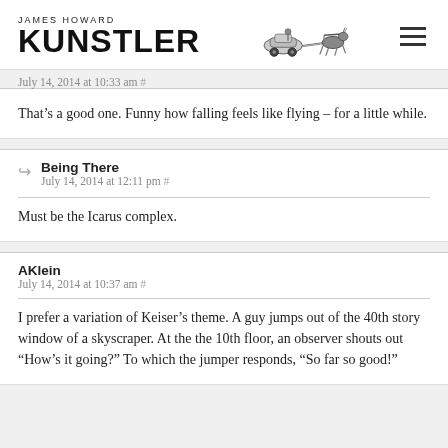JAMES HOWARD KUNSTLER
July 14, 2014 at 10:33 am #
That’s a good one. Funny how falling feels like flying – for a little while.
Being There
July 14, 2014 at 12:11 pm #
Must be the Icarus complex.
AKlein
July 14, 2014 at 10:37 am #
I prefer a variation of Keiser’s theme. A guy jumps out of the 40th story window of a skyscraper. At the the 10th floor, an observer shouts out “How’s it going?” To which the jumper responds, “So far so good!”